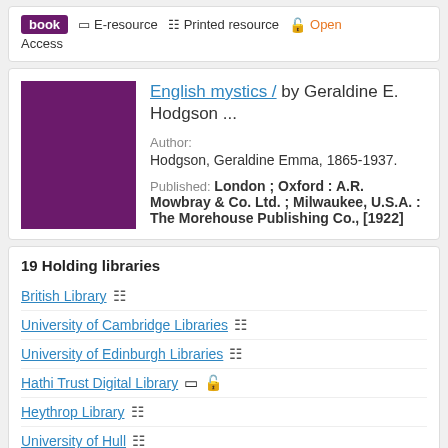book  E-resource  Printed resource  Open Access
English mystics / by Geraldine E. Hodgson ...
Author: Hodgson, Geraldine Emma, 1865-1937.
Published: London ; Oxford : A.R. Mowbray & Co. Ltd. ; Milwaukee, U.S.A. : The Morehouse Publishing Co., [1922]
19 Holding libraries
British Library
University of Cambridge Libraries
University of Edinburgh Libraries
Hathi Trust Digital Library
Heythrop Library
University of Hull